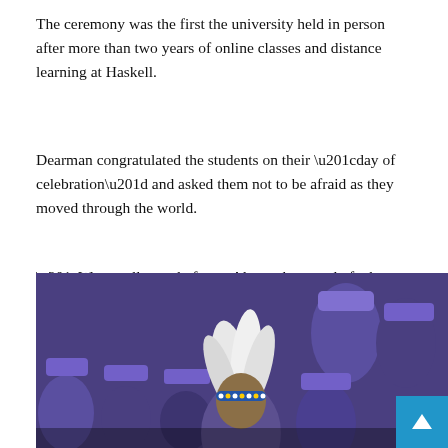The ceremony was the first the university held in person after more than two years of online classes and distance learning at Haskell.
Dearman congratulated the students on their “day of celebration” and asked them not to be afraid as they moved through the world.
“We are all proud of you. Always be proud of who you are and where you come from,” he said. “You have to move forward with confidence and never be afraid of making a mistake or worrying about failure. What you learn from your mistakes is what makes the difference.
[Figure (photo): Graduation ceremony photograph showing students wearing purple graduation caps and gowns; one student in the foreground wears traditional Native American headdress with white feathers and a beaded headband.]